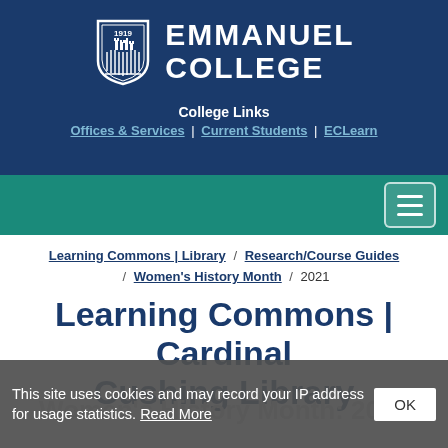[Figure (logo): Emmanuel College logo with shield (1919) and college name in white on dark blue background]
College Links
Offices & Services | Current Students | ECLearn
Learning Commons | Library / Research/Course Guides / Women's History Month / 2021
Learning Commons | Cardinal Cushing Library
Women's History Month: 2021
This site uses cookies and may record your IP address for usage statistics. Read More  OK